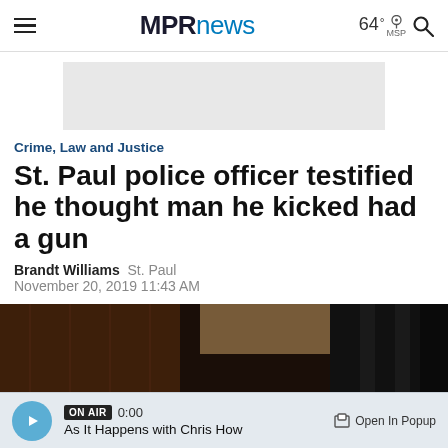MPRnews  64° MSP
[Figure (other): Advertisement placeholder block (gray rectangle)]
Crime, Law and Justice
St. Paul police officer testified he thought man he kicked had a gun
Brandt Williams  St. Paul
November 20, 2019 11:43 AM
[Figure (photo): Dark courtroom photo showing back of a person's head with brown hair, wooden paneling and curtains in the background]
ON AIR  0:00  As It Happens with Chris How   Open In Popup